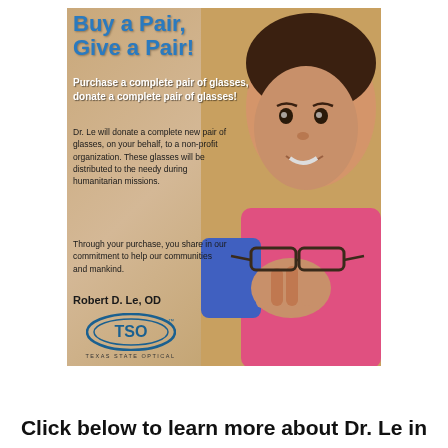[Figure (photo): Advertisement image with sandy/tan background showing a child holding glasses. Contains text overlay: 'Buy a Pair, Give a Pair! Purchase a complete pair of glasses, donate a complete pair of glasses! Dr. Le will donate a complete new pair of glasses, on your behalf, to a non-profit organization. These glasses will be distributed to the needy during humanitarian missions. Through your purchase, you share in our commitment to help our communities and mankind. Robert D. Le, OD' with TSO Texas State Optical logo.]
Click below to learn more about Dr. Le in